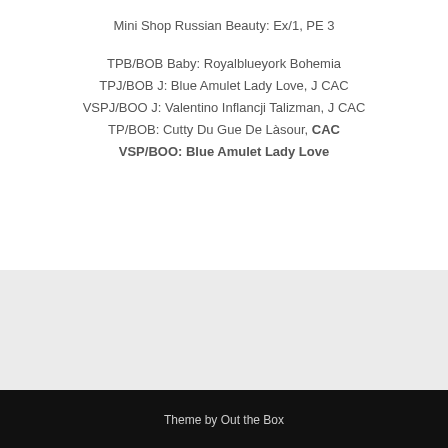Mini Shop Russian Beauty: Ex/1, PE 3
TPB/BOB Baby: Royalblueyork Bohemia
TPJ/BOB J: Blue Amulet Lady Love, J CAC
VSPJ/BOO J: Valentino Inflancji Talizman, J CAC
TP/BOB: Cutty Du Gue De Làsour, CAC
VSP/BOO: Blue Amulet Lady Love
Theme by Out the Box